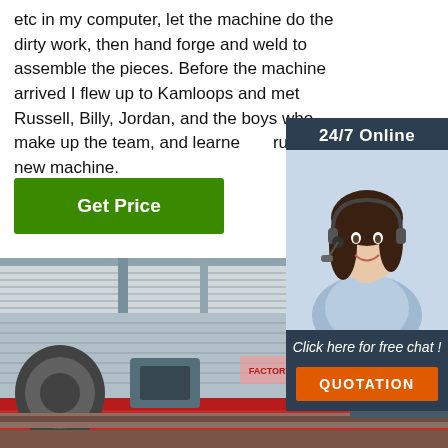etc in my computer, let the machine do the dirty work, then hand forge and weld to assemble the pieces. Before the machine arrived I flew up to Kamloops and met Russell, Billy, Jordan, and the boys who make up the team, and learned to run my new machine.
Get Price
[Figure (photo): 24/7 Online chat widget with a photo of a smiling woman wearing a headset, dark background, with 'Click here for free chat!' text and an orange QUOTATION button]
[Figure (photo): Photo of a large industrial warehouse/factory floor with heavy machinery, red equipment bases, corrugated metal walls and roof, yellow-vested worker visible in background]